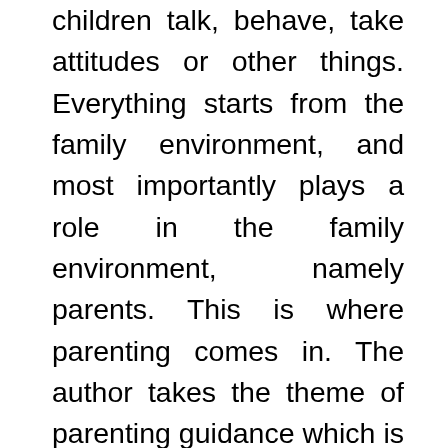children talk, behave, take attitudes or other things. Everything starts from the family environment, and most importantly plays a role in the family environment, namely parents. This is where parenting comes in. The author takes the theme of parenting guidance which is useful in order to add insight into children's behavior so that parents are able to control children's behavior, knowing various children's behaviors. Here, the researchers conducted parenting guidance in Puger Wetan Village and found parents who had difficulty in parenting or recognizing children's behavior. So that here the researcher provides direction or guidance related to these problems. In carrying out this parenting guidance service program, the author uses the research method, namely the EBR (Empowerment-Based Research) method in which the EBR method has 4 stages, including exploration, create and action, evaluation and report and dissemination. And then this parenting guidance is in accordance with the needs of the assisted subject, so the results of parenting guidance will have a good impact on